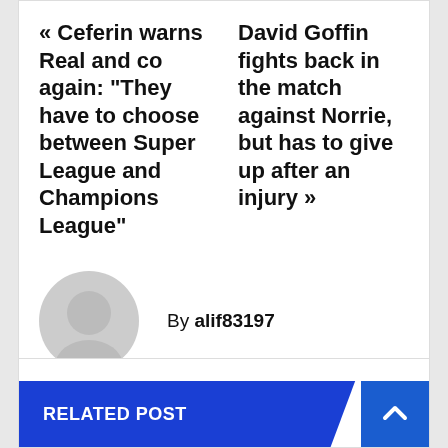« Ceferin warns Real and co again: “They have to choose between Super League and Champions League”
David Goffin fights back in the match against Norrie, but has to give up after an injury »
By alif83197
RELATED POST